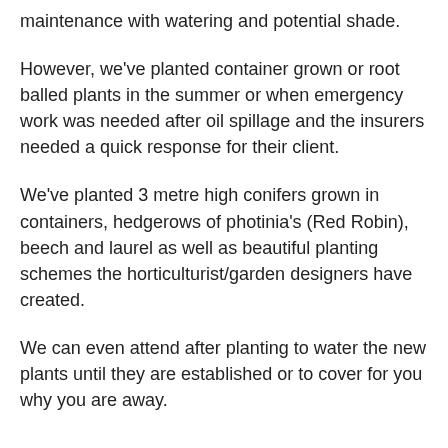maintenance with watering and potential shade.
However, we've planted container grown or root balled plants in the summer or when emergency work was needed after oil spillage and the insurers needed a quick response for their client.
We've planted 3 metre high conifers grown in containers, hedgerows of photinia's (Red Robin), beech and laurel as well as beautiful planting schemes the horticulturist/garden designers have created.
We can even attend after planting to water the new plants until they are established or to cover for you why you are away.